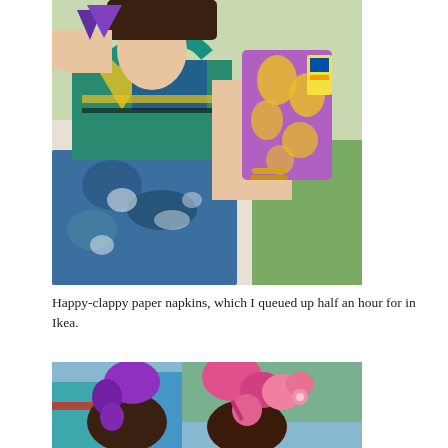[Figure (photo): Woman in colorful patterned dress holding a pack of IKEA paper napkins with purple and yellow pattern, standing outdoors near green grass and playground equipment in background]
Happy-clappy paper napkins, which I queued up half an hour for in Ikea.
[Figure (photo): Two people holding balloon animals (purple and pink balloon sculptures) at a playground with colorful equipment visible in background]